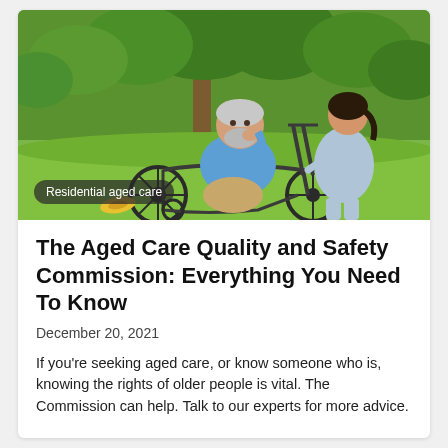[Figure (photo): An elderly man in a wheelchair smiling and laughing outdoors in a green garden, with a young female nurse/carer in light blue scrubs standing behind him pushing the wheelchair. Trees and lush greenery in the background.]
Residential aged care
The Aged Care Quality and Safety Commission: Everything You Need To Know
December 20, 2021
If you're seeking aged care, or know someone who is, knowing the rights of older people is vital. The Commission can help. Talk to our experts for more advice.